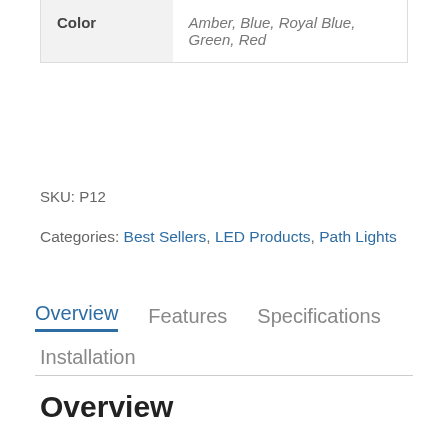| Color |  |
| --- | --- |
| Color | Amber, Blue, Royal Blue, Green, Red |
SKU: P12
Categories: Best Sellers, LED Products, Path Lights
Overview  Features  Specifications  Installation
Overview